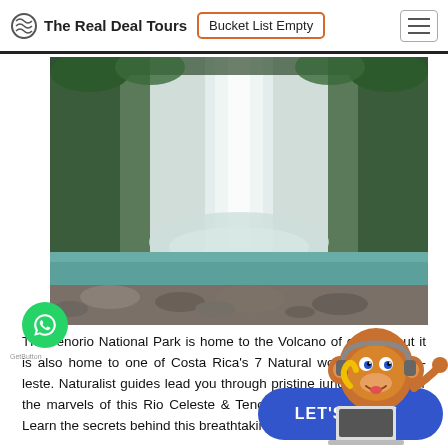The Real Deal Tours | Bucket List Empty
[Figure (photo): Waterfall scene at Tenorio National Park — tall white waterfall cascading down lush green cliffs into a turquoise-green river with rocks in the foreground]
The Tenorio National Park is home to the Volcano of course, but it is also home to one of Costa Rica's 7 Natural wonders, Rio Celeste. Naturalist guides lead you through pristine jungle to discover the marvels of this Rio Celeste & Tenorio Volcano National Park. Learn the secrets behind this breathtaking natural phenomena.